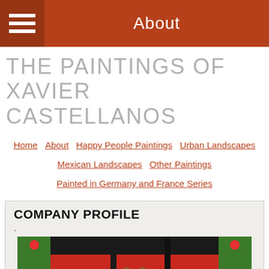About
THE PAINTINGS OF XAVIER CASTELLANOS
Home  About  Happy People Paintings  Urban Landscapes  Mexican Landscapes  Other Paintings  Painted in Germany and France Series
COMPANY PROFILE
[Figure (photo): Colorful painting showing figures with German flag colors (black, red, yellow) and green foliage on sides, with lavender/purple background at bottom.]